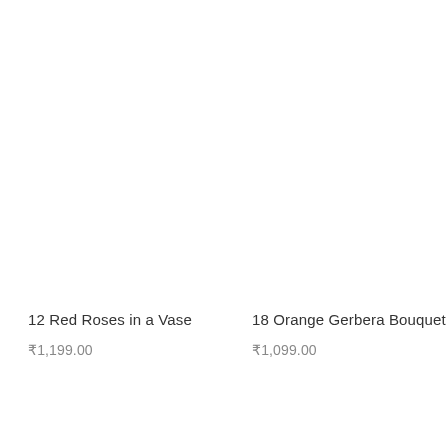12 Red Roses in a Vase
₹1,199.00
18 Orange Gerbera Bouquet
₹1,099.00